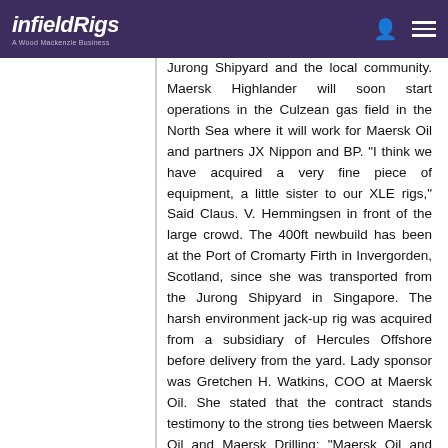infieldRigs – A Wood Mackenzie Business
Jurong Shipyard and the local community. Maersk Highlander will soon start operations in the Culzean gas field in the North Sea where it will work for Maersk Oil and partners JX Nippon and BP. "I think we have acquired a very fine piece of equipment, a little sister to our XLE rigs," Said Claus. V. Hemmingsen in front of the large crowd. The 400ft newbuild has been at the Port of Cromarty Firth in Invergorden, Scotland, since she was transported from the Jurong Shipyard in Singapore. The harsh environment jack-up rig was acquired from a subsidiary of Hercules Offshore before delivery from the yard. Lady sponsor was Gretchen H. Watkins, COO at Maersk Oil. She stated that the contract stands testimony to the strong ties between Maersk Oil and Maersk Drilling: "Maersk Oil and Maersk Drilling share constant care as a core value and we have a tightly aligned approach to safety and employee welfare. We are confident we have a drilling partner which will meet our expectations for